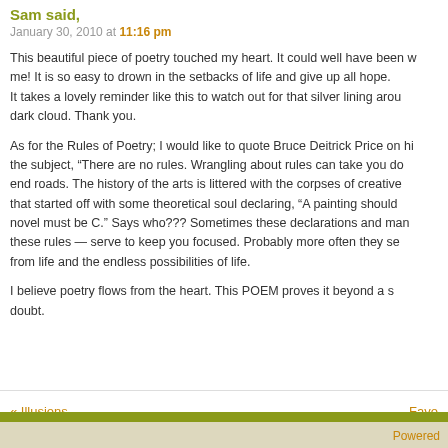Sam said,
January 30, 2010 at 11:16 pm
This beautiful piece of poetry touched my heart. It could well have been written for me! It is so easy to drown in the setbacks of life and give up all hope. It takes a lovely reminder like this to watch out for that silver lining around that dark cloud. Thank you.
As for the Rules of Poetry; I would like to quote Bruce Deitrick Price on his take on the subject, “There are no rules. Wrangling about rules can take you down dead end roads. The history of the arts is littered with the corpses of creative movements that started off with some theoretical soul declaring, “A painting should be B. A novel must be C.” Says who??? Sometimes these declarations and manifestos — these rules — serve to keep you focused. Probably more often they seal you off from life and the endless possibilities of life.
I believe poetry flows from the heart. This POEM proves it beyond a shadow of doubt.
« Illusions…
Powered
Powered